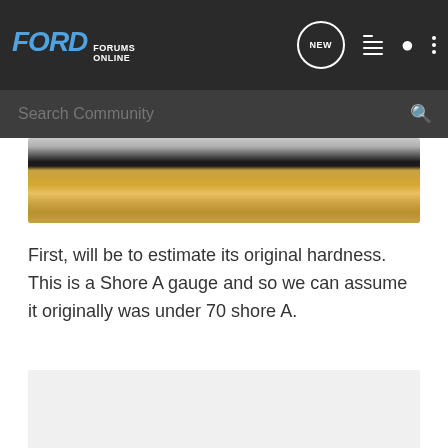FORD FORUMS ONLINE — navigation bar with Search Community
[Figure (photo): Close-up photo of a gold/amber colored car trim strip or weatherstrip, showing the surface and a black edge against a grey background]
First, will be to estimate its original hardness. This is a Shore A gauge and so we can assume it originally was under 70 shore A.
[Figure (photo): Partially visible image area, light grey placeholder, content cut off at bottom of page]